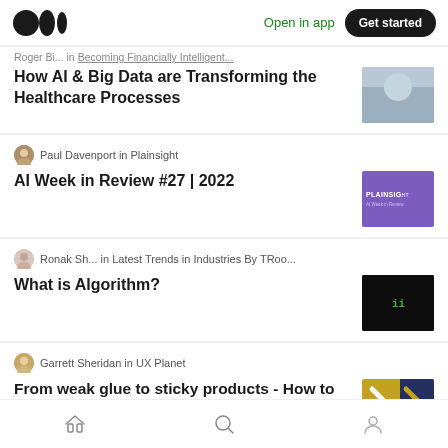Medium logo | Open in app | Get started
Roger Bi... in Becoming Financially Intelligent...
How AI & Big Data are Transforming the Healthcare Processes
Paul Davenport in Plainsight
AI Week in Review #27 | 2022
Ronak Sh... in Latest Trends in Industries By TRoo...
What is Algorithm?
Garrett Sheridan in UX Planet
From weak glue to sticky products - How to make the most of emerging technologies
Home | Search | Profile